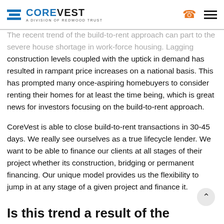CoreVest — A Division of Redwood Trust
The recent trend of the build-to-rent approach can ... part to the severe house shortage in work-force housing. Lagging construction levels coupled with the uptick in demand has resulted in rampant price increases on a national basis. This has prompted many once-aspiring homebuyers to consider renting their homes for at least the time being, which is great news for investors focusing on the build-to-rent approach.
CoreVest is able to close build-to-rent transactions in 30-45 days. We really see ourselves as a true lifecycle lender. We want to be able to finance our clients at all stages of their project whether its construction, bridging or permanent financing. Our unique model provides us the flexibility to jump in at any stage of a given project and finance it.
Is this trend a result of the